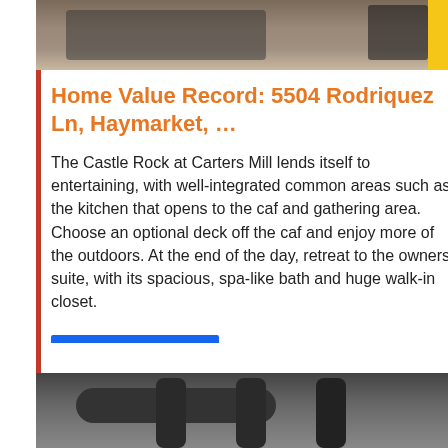[Figure (photo): Top portion of a machinery/equipment photo showing dark industrial equipment with pipes and metal frames, with a yellow element on the right side.]
Home Value Record: 5504 Rodriquez Ln, Haymarket, …
The Castle Rock at Carters Mill lends itself to entertaining, with well-integrated common areas such as the kitchen that opens to the caf and gathering area. Choose an optional deck off the caf and enjoy more of the outdoors. At the end of the day, retreat to the owners suite, with its spacious, spa-like bath and huge walk-in closet.
[Figure (other): Blue Sales Online button/rectangle]
[Figure (photo): Bottom portion of an industrial/mechanical photo showing dark metal pipes and ductwork from below.]